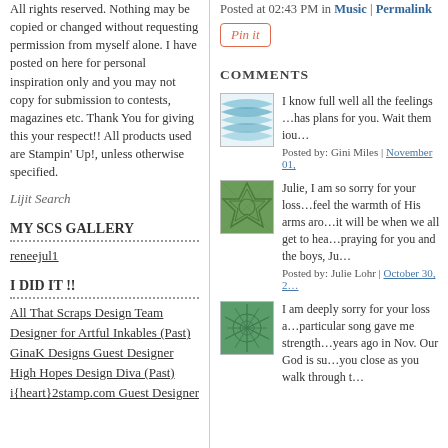All rights reserved. Nothing may be copied or changed without requesting permission from myself alone. I have posted on here for personal inspiration only and you may not copy for submission to contests, magazines etc. Thank You for giving this your respect!! All products used are Stampin' Up!, unless otherwise specified.
Lijit Search
MY SCS GALLERY
reneejul1
I DID IT !!
All That Scraps Design Team
Designer for Artful Inkables (Past)
GinaK Designs Guest Designer
High Hopes Design Diva (Past)
i{heart}2stamp.com Guest Designer
Posted at 02:43 PM in Music | Permalink
Pin it
COMMENTS
I know full well all the feelings ... has plans for you. Wait them iou... Posted by: Gini Miles | November 01,
Julie, I am so sorry for your loss... feel the warmth of His arms aro... it will be when we all get to hea... praying for you and the boys, Ju... Posted by: Julie Lohr | October 30, 2...
I am deeply sorry for your loss a... particular song gave me strength... years ago in Nov. Our God is su... you close as you walk through t...